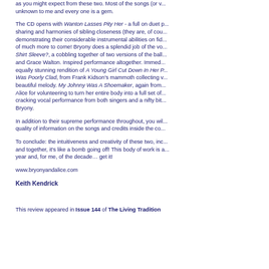as you might expect from these two. Most of the songs (or v... unknown to me and every one is a gem.
The CD opens with Wanton Lasses Pity Her - a full on duet p... sharing and harmonies of sibling closeness (they are, of cou... demonstrating their considerable instrumental abilities on fid... of much more to come! Bryony does a splendid job of the vo... Shirt Sleeve?, a cobbling together of two versions of the ball... and Grace Walton. Inspired performance altogether. Immed... equally stunning rendition of A Young Girl Cut Down In Her P... Was Poorly Clad, from Frank Kidson's mammoth collecting v... beautiful melody. My Johnny Was A Shoemaker, again from... Alice for volunteering to turn her entire body into a full set of... cracking vocal performance from both singers and a nifty bit... Bryony.
In addition to their supreme performance throughout, you wil... quality of information on the songs and credits inside the co...
To conclude: the intuitiveness and creativity of these two, inc... and together, it's like a bomb going off! This body of work is a... year and, for me, of the decade… get it!
www.bryonyandalice.com
Keith Kendrick
This review appeared in Issue 144 of The Living Tradition